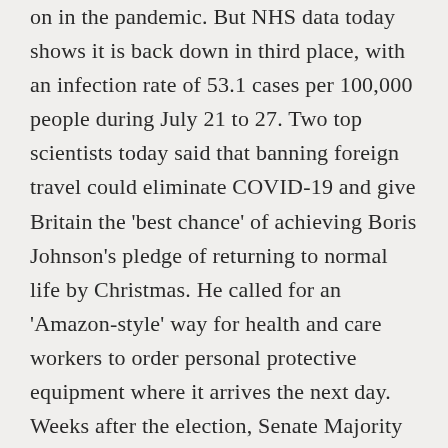on in the pandemic. But NHS data today shows it is back down in third place, with an infection rate of 53.1 cases per 100,000 people during July 21 to 27. Two top scientists today said that banning foreign travel could eliminate COVID-19 and give Britain the 'best chance' of achieving Boris Johnson's pledge of returning to normal life by Christmas. He called for an 'Amazon-style' way for health and care workers to order personal protective equipment where it arrives the next day. Weeks after the election, Senate Majority Leader Mitch McConnell congratulates the president-elect. Travel agent TUI, which has three stores in Milton Keynes, is to close 166 high street shops due to the impact COVID-19 has had on travel.